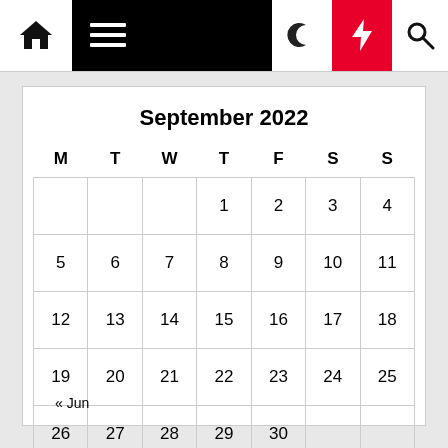[Figure (screenshot): Website navigation bar with home icon, hamburger menu on black background, moon icon, red lightning bolt icon, and search icon]
| M | T | W | T | F | S | S |
| --- | --- | --- | --- | --- | --- | --- |
|  |  |  | 1 | 2 | 3 | 4 |
| 5 | 6 | 7 | 8 | 9 | 10 | 11 |
| 12 | 13 | 14 | 15 | 16 | 17 | 18 |
| 19 | 20 | 21 | 22 | 23 | 24 | 25 |
| 26 | 27 | 28 | 29 | 30 |  |  |
« Jun